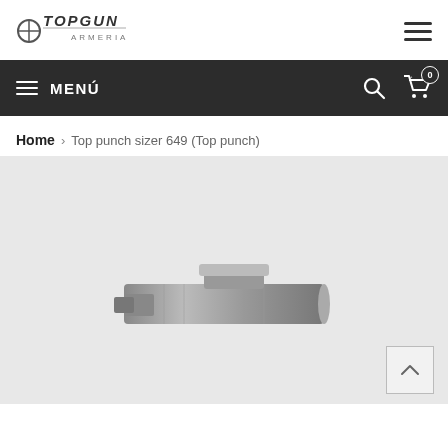TOPGUN ARMERIA
MENÚ
Home > Top punch sizer 649 (Top punch)
[Figure (photo): Metal top punch sizer 649 tool, shown from an angle on a light grey background. A back-to-top arrow button is visible in the bottom right corner.]